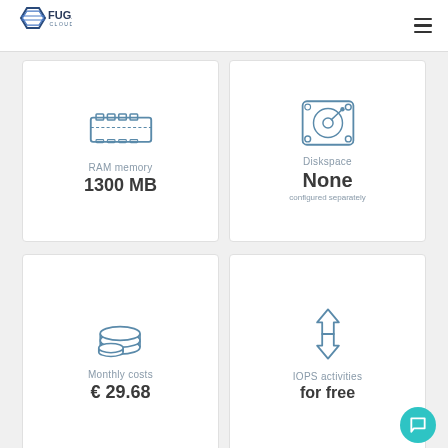[Figure (logo): Fuga Cloud hexagon logo with text FUGA CLOUD]
[Figure (infographic): RAM memory icon showing RAM stick, label: RAM memory, value: 1300 MB]
[Figure (infographic): Diskspace icon showing hard drive, label: Diskspace, value: None, subtitle: configured separately]
[Figure (infographic): Monthly costs icon showing coins stack, label: Monthly costs, value: € 29.68]
[Figure (infographic): IOPS activities icon showing up/down arrows, label: IOPS activities, value: for free]
Fuga Cloud c2.medium